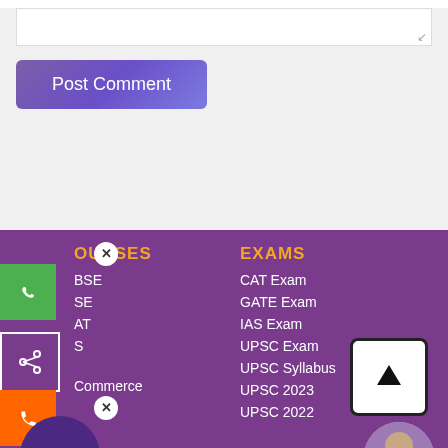[Figure (screenshot): Comment form area with textarea and Post Comment button on light gray background]
[Figure (screenshot): Website footer section with purple background showing COURSES and EXAMS navigation links, floating WhatsApp/share/call buttons, download app circle, scroll-up arrow button, and avatar image]